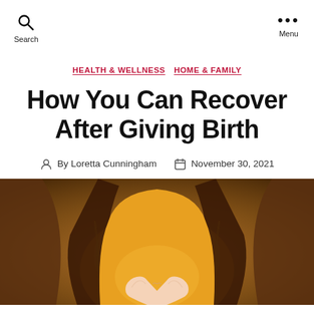Search  Menu
HEALTH & WELLNESS  HOME & FAMILY
How You Can Recover After Giving Birth
By Loretta Cunningham  November 30, 2021
[Figure (photo): Close-up photo of a pregnant woman in an orange/mustard outfit forming a heart shape with her hands over her belly, with warm autumn tones.]